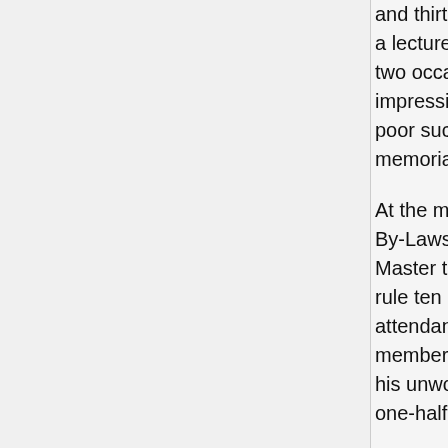and thirteen in December. There was no work done during the year, though a lecture was given occasionally, Br. Isaac Story addressed the Lodge on two occasions, "upon the principles of Masonry, in a very appropriate and impressive manner." Efforts were made to collect quarterages with rather poor success, and in December, Br. Ezra Mudge was chosen "to draft a memorial relative to the death of our late worthy Brother Ezra Hitchings."
At the meeting held February 1st, 1830, it was voted to dispense with the By-Laws requiring monthly meetings to be held; and to leave it with the Master to call the Lodge together when he may deem it proper. Under this rule ten regular and two special meetings were held during the year, the attendance was better and more energy was displayed. The name of one member was erased from the roll "as an expression of our just indignation at his unworthy conduct as a man and Mason." The quarterages were reduced one-half. Brother Isaac Gates, Esq., was requested to deliver a